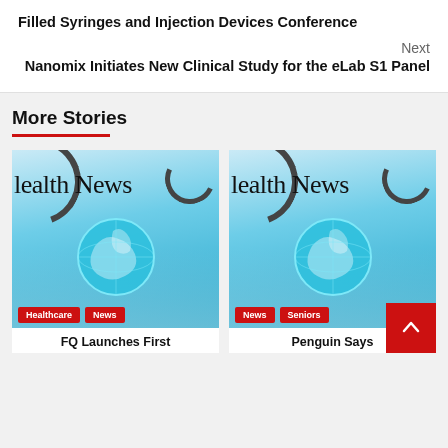Filled Syringes and Injection Devices Conference
Next
Nanomix Initiates New Clinical Study for the eLab S1 Panel
More Stories
[Figure (photo): Health News banner image showing a glowing globe held by gloved hands with a stethoscope, overlaid with text 'Health News'. Tags: Healthcare, News]
[Figure (photo): Health News banner image showing a glowing globe held by gloved hands with a stethoscope, overlaid with text 'Health News'. Tags: News, Seniors]
FQ Launches First
Penguin Says